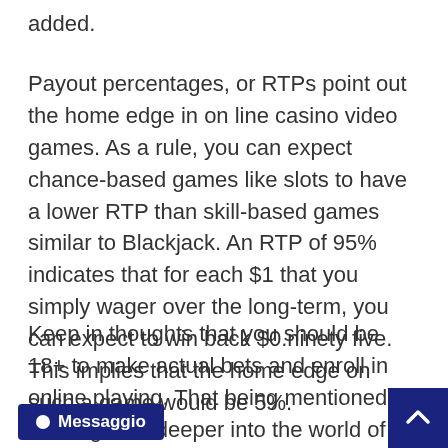added.
Payout percentages, or RTPs point out the home edge in on line casino video games. As a rule, you can expect chance-based games like slots to have a lower RTP than skill-based games similar to Blackjack. An RTP of 95% indicates that for each $1 that you simply wager over the long-term, you can expect to win back $0.ninety five. This implies that the home edge on such a game would be 5%.
Keep in thoughts that you should be 18+ to make actual bets and enroll in online playing. That being mentioned, let’s dig a bit deeper into the world of slots as we all know it right now, and get you with the opportunities it present